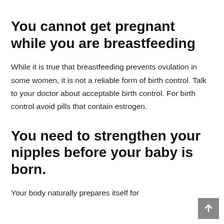You cannot get pregnant while you are breastfeeding
While it is true that breastfeeding prevents ovulation in some women, it is not a reliable form of birth control. Talk to your doctor about acceptable birth control. For birth control avoid pills that contain estrogen.
You need to strengthen your nipples before your baby is born.
Your body naturally prepares itself for